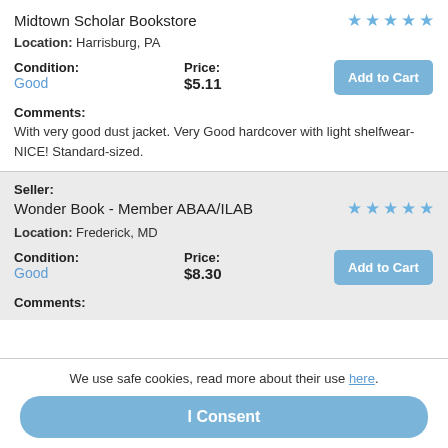Midtown Scholar Bookstore
Location: Harrisburg, PA
Condition: Good
Price: $5.11
Add to Cart
Comments: With very good dust jacket. Very Good hardcover with light shelfwear-NICE! Standard-sized.
Seller: Wonder Book - Member ABAA/ILAB
Location: Frederick, MD
Condition: Good
Price: $8.30
Add to Cart
Comments:
We use safe cookies, read more about their use here.
I Consent